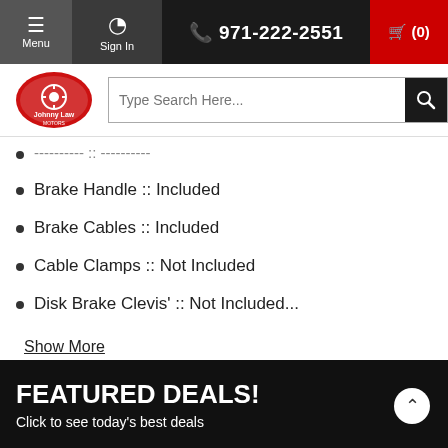Menu | Sign In | 971-222-2551 | Cart (0)
[Figure (screenshot): Johnny Law Motors logo and search bar]
---------- :: ----------
Brake Handle :: Included
Brake Cables :: Included
Cable Clamps :: Not Included
Disk Brake Clevis' :: Not Included...
Show More
Our technicians also recommend...
[Figure (screenshot): Product card showing Firewall Mount Twist Loc product]
FEATURED DEALS! Click to see today's best deals